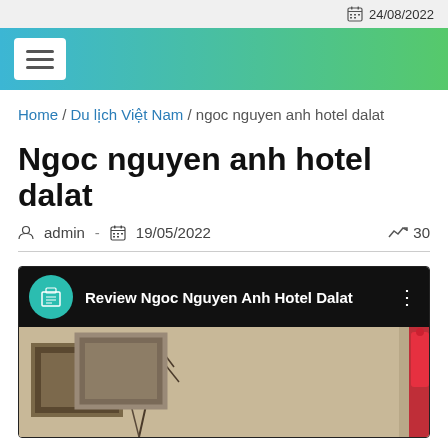24/08/2022
[Figure (screenshot): Navigation header with hamburger menu icon on teal-to-green gradient background]
Home / Du lịch Việt Nam / ngoc nguyen anh hotel dalat
Ngoc nguyen anh hotel dalat
admin - 19/05/2022  30
[Figure (screenshot): Video thumbnail for 'Review Ngoc Nguyen Anh Hotel Dalat' with hotel icon in teal circle on black bar, and hotel room image below with decorative branches and red element]